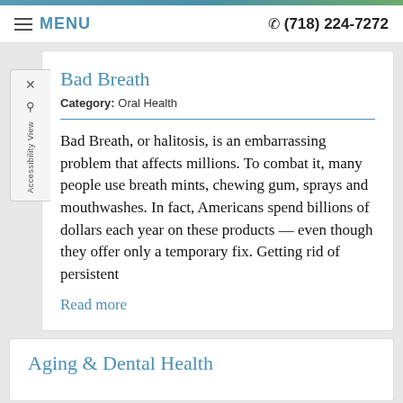≡ MENU  ☎ (718) 224-7272
Bad Breath
Category: Oral Health
Bad Breath, or halitosis, is an embarrassing problem that affects millions. To combat it, many people use breath mints, chewing gum, sprays and mouthwashes. In fact, Americans spend billions of dollars each year on these products — even though they offer only a temporary fix. Getting rid of persistent
Read more
Aging & Dental Health